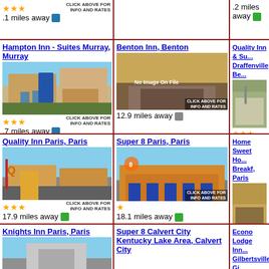[Figure (screenshot): Hotel listing grid showing hotels with images, star ratings, distances. Top partial row, then Hampton Inn Murray, Benton Inn, Quality Inn partial. Then Quality Inn Paris, Super 8 Paris, Home Sweet Home partial. Then Knights Inn Paris, Super 8 Calvert City, Econo Lodge partial.]
.1 miles away
.2 miles away
Hampton Inn - Suites Murray, Murray
.7 miles away
Benton Inn, Benton
12.9 miles away
Quality Inn & Suites Draffenville, Be...
16.6 miles away
Quality Inn Paris, Paris
17.9 miles away
Super 8 Paris, Paris
18.1 miles away
Home Sweet Home Breakf, Paris
18.4 miles away
Knights Inn Paris, Paris
Super 8 Calvert City Kentucky Lake Area, Calvert City
Econo Lodge Inn, Gilbertsville, Gi...